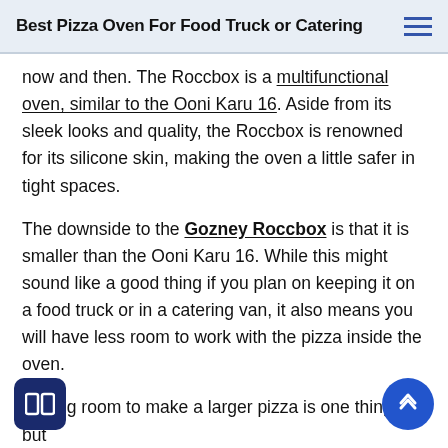Best Pizza Oven For Food Truck or Catering
now and then. The Roccbox is a multifunctional oven, similar to the Ooni Karu 16. Aside from its sleek looks and quality, the Roccbox is renowned for its silicone skin, making the oven a little safer in tight spaces.
The downside to the Gozney Roccbox is that it is smaller than the Ooni Karu 16. While this might sound like a good thing if you plan on keeping it on a food truck or in a catering van, it also means you will have less room to work with the pizza inside the oven.
Having room to make a larger pizza is one thing, but